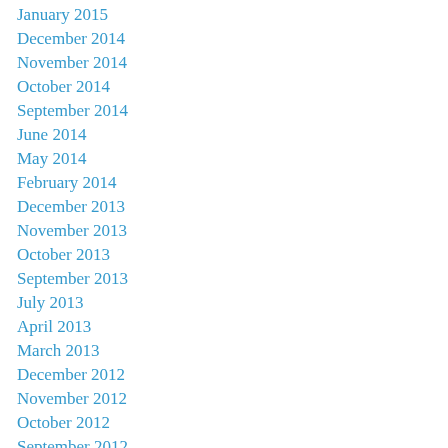January 2015
December 2014
November 2014
October 2014
September 2014
June 2014
May 2014
February 2014
December 2013
November 2013
October 2013
September 2013
July 2013
April 2013
March 2013
December 2012
November 2012
October 2012
September 2012